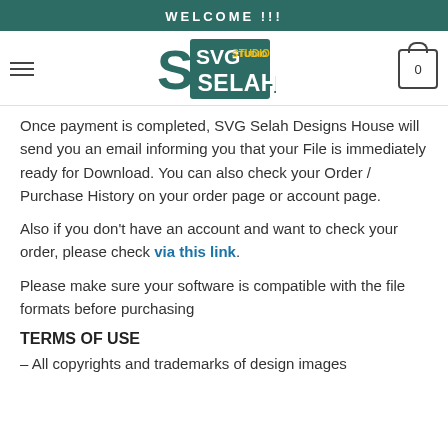WELCOME !!!
[Figure (logo): SVG Studio Selah logo — stylized S letter with 'SVG STUDIO SELAH' text in dark teal]
Once payment is completed, SVG Selah Designs House will send you an email informing you that your File is immediately ready for Download. You can also check your Order / Purchase History on your order page or account page.
Also if you don’t have an account and want to check your order, please check via this link.
Please make sure your software is compatible with the file formats before purchasing
TERMS OF USE
– All copyrights and trademarks of design images